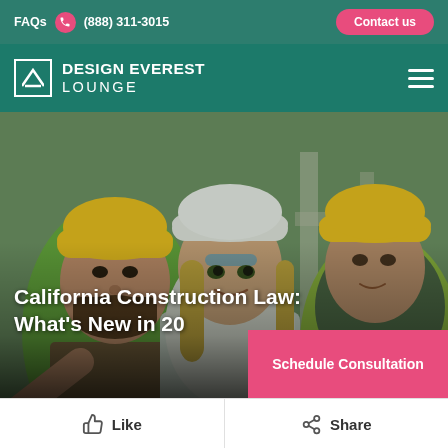FAQs  (888) 311-3015  Contact us
DESIGN EVEREST LOUNGE
[Figure (photo): Three construction workers wearing hard hats and safety vests on a construction site. Left person with yellow hard hat and beard points to the right. Center person is a woman in white hard hat. Right person wearing yellow hard hat looks in the same direction.]
California Construction Law: What's New in 20…
Schedule Consultation
👍 Like      Share